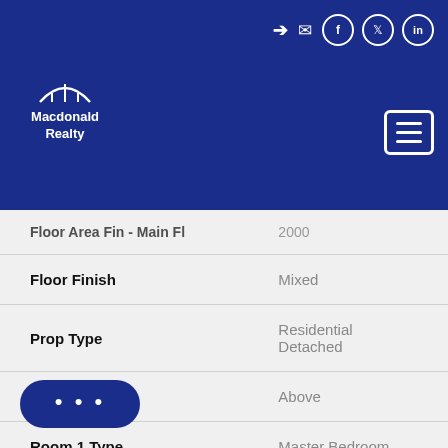Macdonald Realty
| Field | Value |
| --- | --- |
| Floor Area Fin - Main Fl | 2000 |
| Floor Finish | Mixed |
| Prop Type | Residential Detached |
| Room 1 Level | Above |
| Room 1 Type | Master Bedroom |
| Room 10 Level | Main |
| Room 10 Type | Dining Room |
| ... Level | Main |